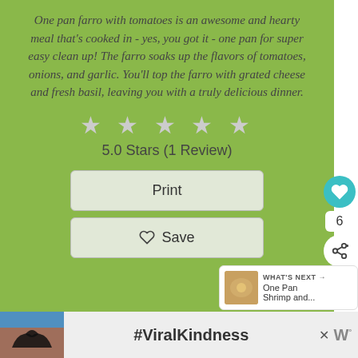One pan farro with tomatoes is an awesome and hearty meal that's cooked in - yes, you got it - one pan for super easy clean up! The farro soaks up the flavors of tomatoes, onions, and garlic. You'll top the farro with grated cheese and fresh basil, leaving you with a truly delicious dinner.
[Figure (other): Five grey star rating icons]
5.0 Stars (1 Review)
Print
♡ Save
[Figure (other): Side bar with heart icon (teal circle), count '6', and share icon]
[Figure (other): WHAT'S NEXT panel with food thumbnail and text 'One Pan Shrimp and...']
[Figure (other): Advertisement banner with silhouette hands making heart shape, #ViralKindness text, close button, and logo]